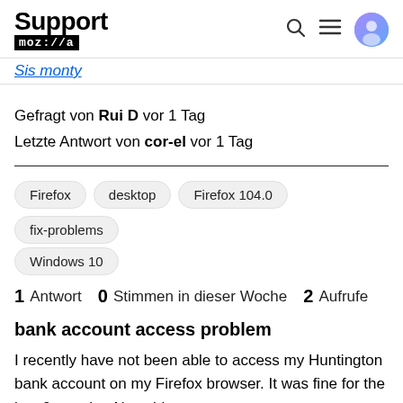Support mozilla
Sis monty
Gefragt von Rui D vor 1 Tag
Letzte Antwort von cor-el vor 1 Tag
Firefox
desktop
Firefox 104.0
fix-problems
Windows 10
1 Antwort   0  Stimmen in dieser Woche   2  Aufrufe
bank account access problem
I recently have not been able to access my Huntington bank account on my Firefox browser. It was fine for the last 9 months. Now this error message appears every time I oll...